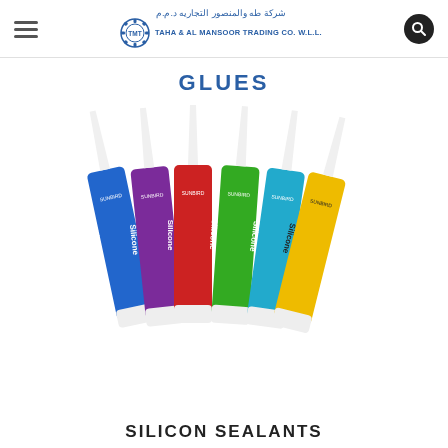TMT - TAHA & AL MANSOOR TRADING CO. W.L.L. | شركة طه والمنصور التجاريه د.م.م
GLUES
[Figure (photo): Six silicone sealant tubes in different colors (blue, purple, red, green, cyan, yellow) with white nozzles, branded SUNBIRD Silicone.]
SILICON SEALANTS